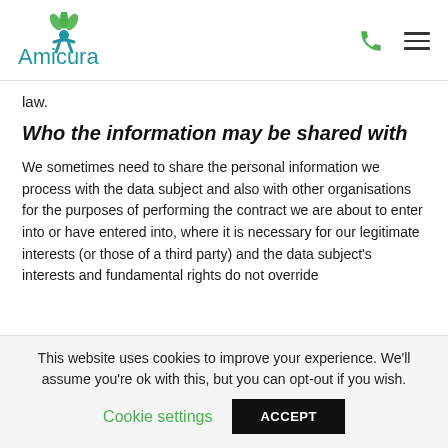[Figure (logo): Amicura company logo with green leaf/person icon and blue text]
law.
Who the information may be shared with
We sometimes need to share the personal information we process with the data subject and also with other organisations for the purposes of performing the contract we are about to enter into or have entered into, where it is necessary for our legitimate interests (or those of a third party) and the data subject's interests and fundamental rights do not override
This website uses cookies to improve your experience. We'll assume you're ok with this, but you can opt-out if you wish.
Cookie settings   ACCEPT